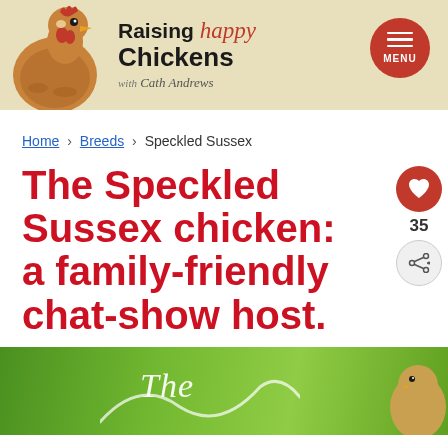Raising happy Chickens with Cath Andrews
Home › Breeds › Speckled Sussex
The Speckled Sussex chicken: a family-friendly chat-show host.
[Figure (photo): Partial green blurred background with the beginning of an article image, text 'The' visible in white italic over the green background]